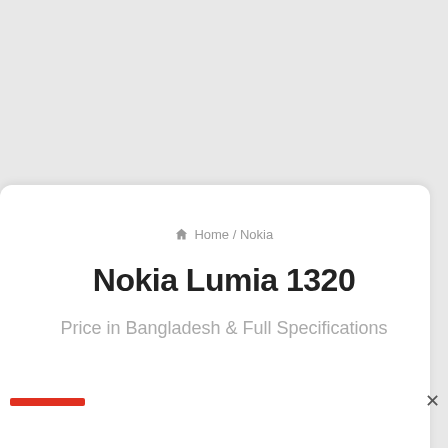Home / Nokia
Nokia Lumia 1320
Price in Bangladesh & Full Specifications